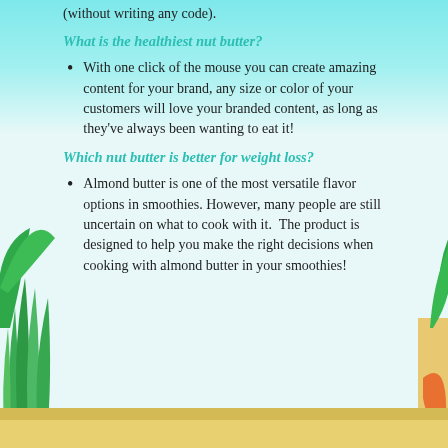(without writing any code).
What is the healthiest nut butter?
With one click of the mouse you can create amazing content for your brand, any size or color of your customers will love your branded content, as long as they've always been wanting to eat it!
Which nut butter is better for weight loss?
Almond butter is one of the most versatile flavor options in smoothies. However, many people are still uncertain on what to cook with it.  The product is designed to help you make the right decisions when cooking with almond butter in your smoothies!